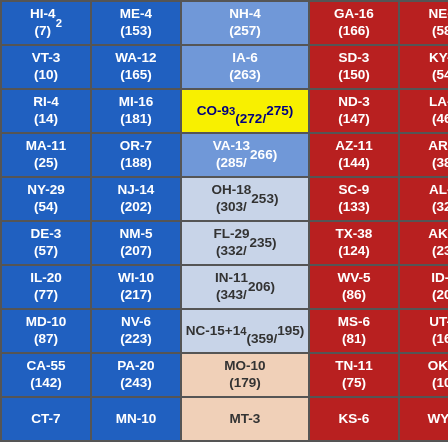| Blue Col 1 | Blue Col 2 | Center | Red Col 1 | Red Col 2 |
| --- | --- | --- | --- | --- |
| HI-4 (7)² | ME-4 (153) | NH-4 (257) | GA-16 (166) | NE-4 (58) |
| VT-3 (10) | WA-12 (165) | IA-6 (263) | SD-3 (150) | KY-8 (54) |
| RI-4 (14) | MI-16 (181) | CO-9³ (272/275) | ND-3 (147) | LA-8 (46) |
| MA-11 (25) | OR-7 (188) | VA-13 (285/266) | AZ-11 (144) | AR-6 (38) |
| NY-29 (54) | NJ-14 (202) | OH-18 (303/253) | SC-9 (133) | AL-9 (32) |
| DE-3 (57) | NM-5 (207) | FL-29 (332/235) | TX-38 (124) | AK-3 (23) |
| IL-20 (77) | WI-10 (217) | IN-11 (343/206) | WV-5 (86) | ID-4 (20) |
| MD-10 (87) | NV-6 (223) | NC-15+1⁴ (359/195) | MS-6 (81) | UT-6 (16) |
| CA-55 (142) | PA-20 (243) | MO-10 (179) | TN-11 (75) | OK-7 (10) |
| CT-7 | MN-10 | MT-3 | KS-6 | WY-3 |